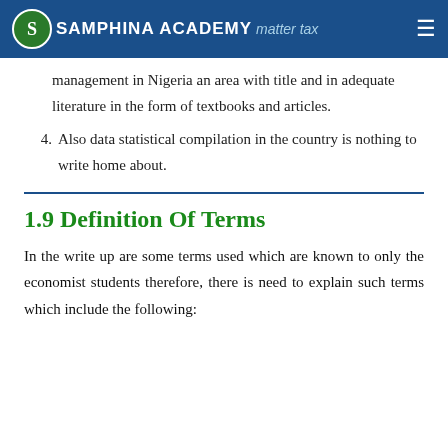SAMPHINA ACADEMY | matter tax
management in Nigeria an area with title and in adequate literature in the form of textbooks and articles.
4. Also data statistical compilation in the country is nothing to write home about.
1.9 Definition Of Terms
In the write up are some terms used which are known to only the economist students therefore, there is need to explain such terms which include the following: